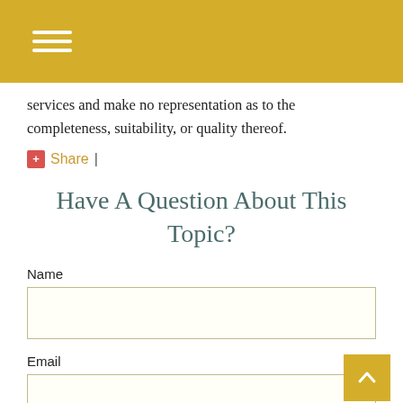Navigation menu icon
services and make no representation as to the completeness, suitability, or quality thereof.
Share |
Have A Question About This Topic?
Name
Email